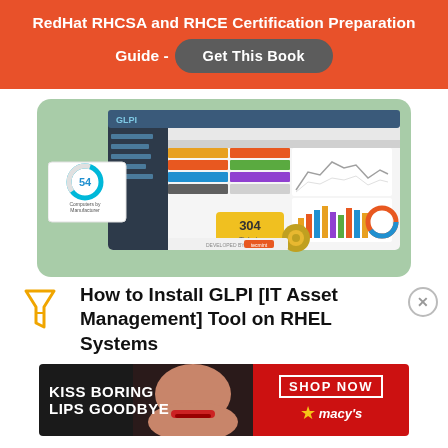RedHat RHCSA and RHCE Certification Preparation Guide - Get This Book
[Figure (screenshot): GLPI IT Asset Management dashboard screenshot showing ticket counts (304 Tickets), computer hardware summary (54 Computers by Manufacturer), bar charts and line graphs, developed by Tecmint branding.]
How to Install GLPI [IT Asset Management] Tool on RHEL Systems
[Figure (other): Macy's advertisement banner: KISS BORING LIPS GOODBYE with SHOP NOW button and Macy's logo star]